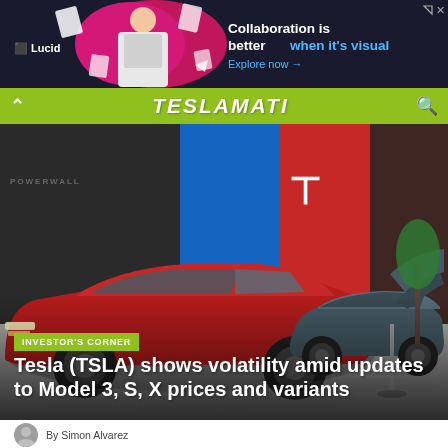[Figure (screenshot): Lucid advertisement banner with dark background, person with floating geometric shapes, text: Collaboration is better when it's visual, Explore now →]
TESLAMAN (navigation bar with Teslarati-style logo)
[Figure (photo): Tesla showroom interior with red Tesla Model S and dark grey Tesla Model 3 with hood open, Tesla logo visible on red wall in background]
INVESTOR'S CORNER
Tesla (TSLA) shows volatility amid updates to Model 3, S, X prices and variants
By Simon Alvarez